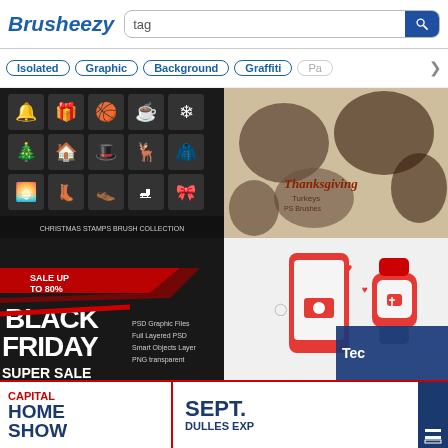[Figure (screenshot): Brusheezy website header with logo, search bar with 'tag' placeholder, and navigation tag buttons: Isolated, Graphic, Background, Graffiti, Pa...]
[Figure (screenshot): Christmas Stamps Brush Collection - grid of white holiday icons on dark background]
[Figure (screenshot): Thanksgiving Turkeys PS Brushes - vintage illustration of turkeys]
[Figure (screenshot): Black Friday Super Sale PSD graphic files promotional banner]
[Figure (screenshot): Technology/health device illustration with red smartphone, smartwatch, and hearts, with dark blue overlay showing 'Tec']
[Figure (advertisement): Capital Home Show advertisement - SEPT. DULLES EXP...]